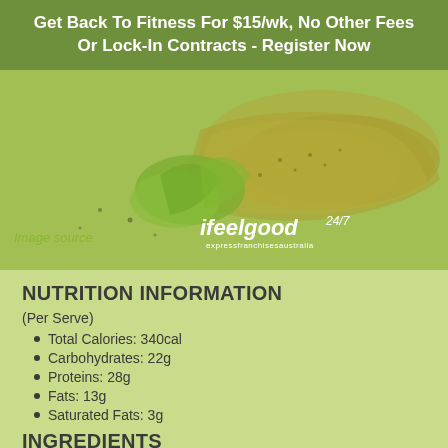Get Back To Fitness For $15/wk, No Other Fees Or Lock-In Contracts - Register Now
[Figure (photo): Food photograph with green overlay showing bread/toast with greens, featuring ifeelgood24/7 logo watermark and 'Image source' text]
NUTRITION INFORMATION
(Per Serve)
Total Calories: 340cal
Carbohydrates: 22g
Proteins: 28g
Fats: 13g
Saturated Fats: 3g
INGREDIENTS